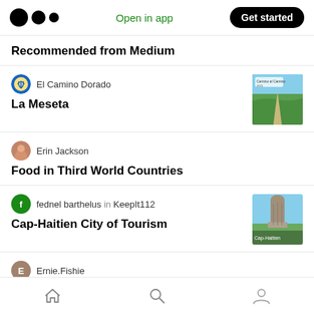Medium logo | Open in app | Get started
Recommended from Medium
El Camino Dorado
La Meseta
[Figure (photo): Thumbnail image of La Meseta landscape with green fields and a path]
Erin Jackson
Food in Third World Countries
fednel barthelus in KeepIt112
Cap-Haitien City of Tourism
[Figure (photo): Thumbnail image of Cap-Haitien stone statue or monument]
Ernie.Fishie
Deserved the slap in my face
Home | Search | Profile navigation bar